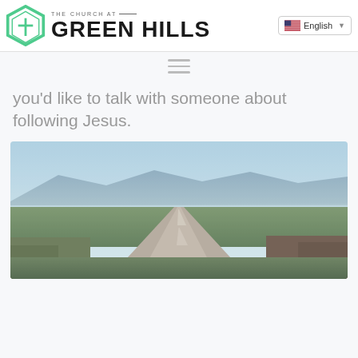The Church at Green Hills
[Figure (logo): The Church at Green Hills logo with green hexagon and cross icon]
English language selector
Hamburger menu icon
you’d like to talk with someone about following Jesus.
[Figure (photo): Aerial drone photo of a suburban city with a long straight boulevard stretching into the distance, mountains visible in the background under a hazy blue sky]